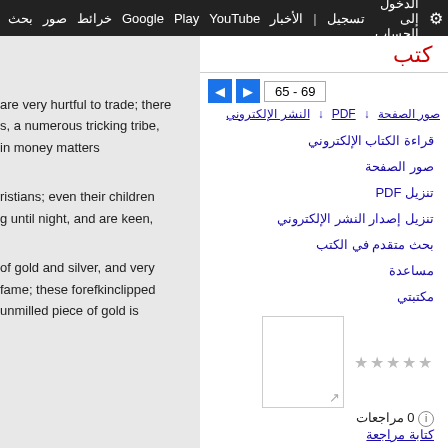بحث صور خرائط Google Play YouTube الأخبار تسجيل الدخول الإعدادات ⚙
كتب
65 - 69
صور الصفحة  PDF ↓  النشر الإلكتروني ↓
are very hurtful to trade; there
s, a numerous tricking tribe,
in money matters
قراءة الكتاب الإلكتروني
صور الصفحة
تنزيل PDF
تنزيل إصدار النشر الإلكتروني
بحث متقدم في الكتب
مساعدة
مكتبتي
0 مراجعات
كتابة مراجعة
ristians; even their children
g until night, and are keen,
of gold and silver, and very
fame; these forefkinclipped
unmilled piece of gold is
West India Customs and Manners: Containing Strictures on the Soil ...